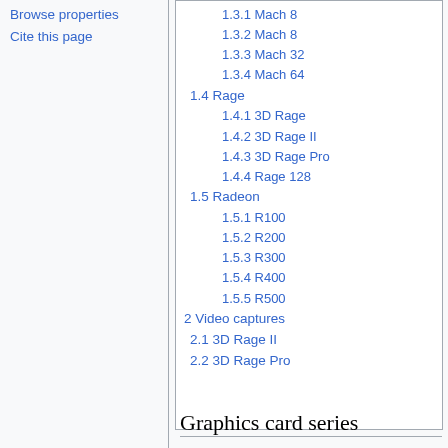Browse properties
Cite this page
1.3.1 Mach 8
1.3.2 Mach 8
1.3.3 Mach 32
1.3.4 Mach 64
1.4 Rage
1.4.1 3D Rage
1.4.2 3D Rage II
1.4.3 3D Rage Pro
1.4.4 Rage 128
1.5 Radeon
1.5.1 R100
1.5.2 R200
1.5.3 R300
1.5.4 R400
1.5.5 R500
2 Video captures
2.1 3D Rage II
2.2 3D Rage Pro
Graphics card series